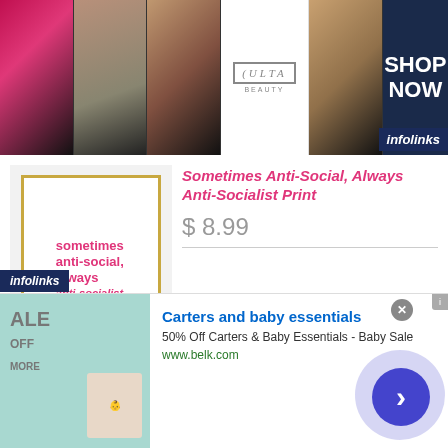[Figure (photo): Top advertising banner with makeup/beauty images: lipstick, makeup brush, eye with dark makeup, Ulta Beauty logo, eye with dramatic liner, and Shop Now button on dark blue background]
infolinks
[Figure (photo): Product image: framed print with pink text reading 'sometimes anti-social, always anti-socialist.' on white background with gold frame]
Sometimes Anti-Social, Always Anti-Socialist Print
$ 8.99
Sometimes anti-social, always anti-socialist.
Available in 8x10. This is printed on uncoated high quality card stock.
infolinks
[Figure (photo): Bottom advertisement for Carters and baby essentials with teal background showing sale text and baby photo]
Carters and baby essentials
50% Off Carters & Baby Essentials - Baby Sale
www.belk.com